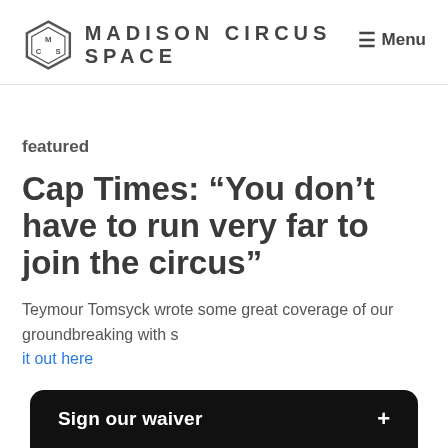MADISON CIRCUS SPACE
≡ Menu
featured
Cap Times: “You don’t have to run very far to join the circus”
Teymour Tomsyck wrote some great coverage of our groundbreaking with s… it out here
Sign our waiver +